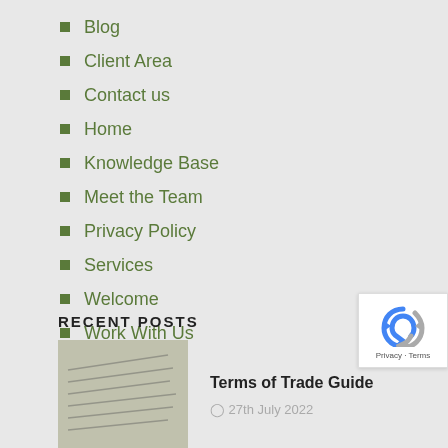Blog
Client Area
Contact us
Home
Knowledge Base
Meet the Team
Privacy Policy
Services
Welcome
Work With Us
RECENT POSTS
[Figure (photo): Thumbnail image of a dictionary or text page]
Terms of Trade Guide
27th July 2022
[Figure (logo): Google reCAPTCHA badge with Privacy and Terms links]